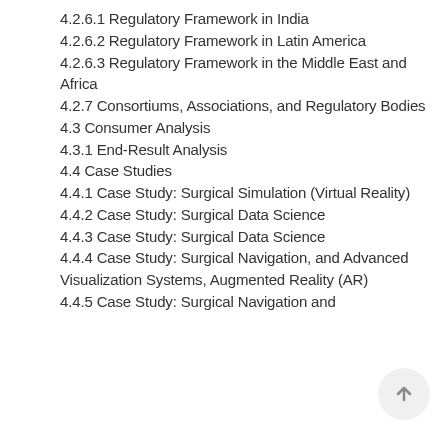4.2.6.1 Regulatory Framework in India
4.2.6.2 Regulatory Framework in Latin America
4.2.6.3 Regulatory Framework in the Middle East and Africa
4.2.7 Consortiums, Associations, and Regulatory Bodies
4.3 Consumer Analysis
4.3.1 End-Result Analysis
4.4 Case Studies
4.4.1 Case Study: Surgical Simulation (Virtual Reality)
4.4.2 Case Study: Surgical Data Science
4.4.3 Case Study: Surgical Data Science
4.4.4 Case Study: Surgical Navigation, and Advanced Visualization Systems, Augmented Reality (AR)
4.4.5 Case Study: Surgical Navigation and